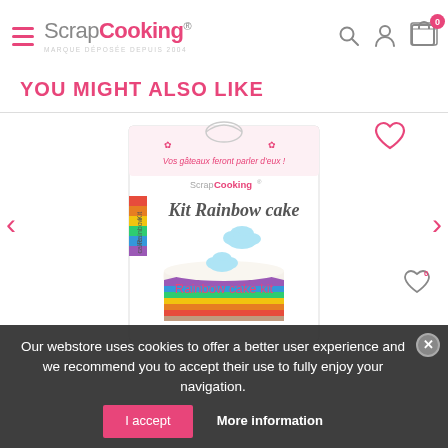ScrapCooking® — navigation header with hamburger menu, search, user, and cart icons
YOU MIGHT ALSO LIKE
[Figure (photo): Product photo of a ScrapCooking 'Kit Rainbow cake' box showing a slice of rainbow cake with white frosting and colorful layers, with a wishlist heart icon overlay]
Rainbow cake kit
Our webstore uses cookies to offer a better user experience and we recommend you to accept their use to fully enjoy your navigation.
I accept
More information